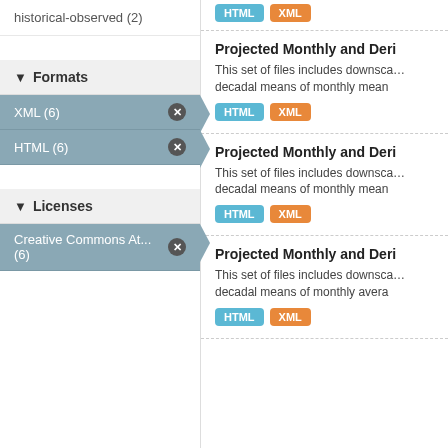historical-observed (2)
Formats
XML (6)
HTML (6)
Licenses
Creative Commons At... (6)
HTML XML
Projected Monthly and Deri
This set of files includes downscaled decadal means of monthly mean
HTML XML
Projected Monthly and Deri
This set of files includes downscaled decadal means of monthly mean
HTML XML
Projected Monthly and Deri
This set of files includes downscaled decadal means of monthly avera
HTML XML